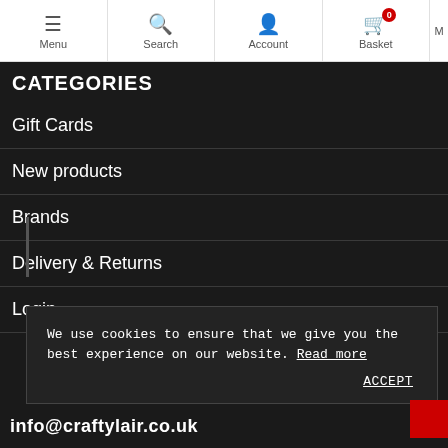Menu | Search | Account | Basket 0
CATEGORIES
Gift Cards
New products
Brands
Delivery & Returns
Login
We use cookies to ensure that we give you the best experience on our website. Read more
ACCEPT
info@craftylair.co.uk